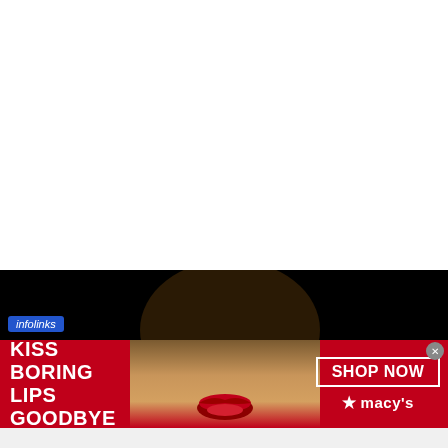[Figure (photo): White blank area at top of page, likely a webpage content area above an advertisement]
[Figure (photo): Black band showing partial dark area, likely a darkened photo of a woman's face from forehead to nose]
infolinks
[Figure (illustration): Macy's advertisement banner with red background showing a woman with red lips. Left text reads 'KISS BORING LIPS GOODBYE'. Right side shows 'SHOP NOW' button and Macy's star logo.]
KISS BORING LIPS GOODBYE
SHOP NOW
★macy's